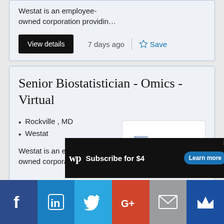Westat is an employee-owned corporation providin…
View details   7 days ago   Save
Senior Biostatistician - Omics - Virtual
Rockville , MD
Westat
[Figure (logo): Westat company logo with triangular arrow icon and bold Westat text]
Westat is an employee-owned corporation providin…
[Figure (other): Washington Post advertisement banner: wp Subscribe for $4 Learn more]
[Figure (other): Social media share bar: Facebook, LinkedIn, Twitter, Google+, Mail, Crown icons]